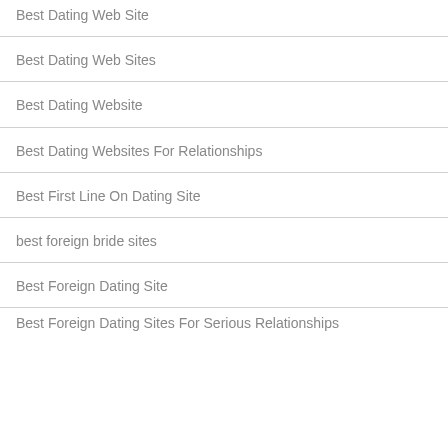Best Dating Web Sites
Best Dating Web Sites
Best Dating Website
Best Dating Websites For Relationships
Best First Line On Dating Site
best foreign bride sites
Best Foreign Dating Site
Best Foreign Dating Sites For Serious Relationships